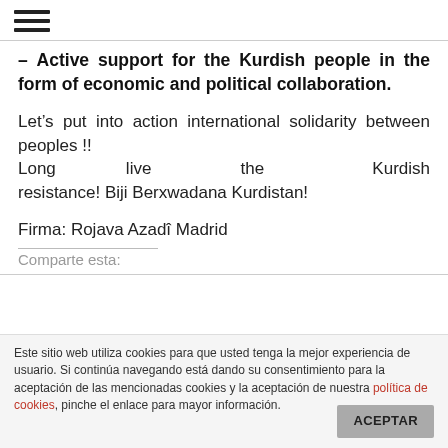[hamburger menu icon]
– Active support for the Kurdish people in the form of economic and political collaboration.
Let's put into action international solidarity between peoples !!
Long live the Kurdish resistance! Biji Berxwadana Kurdistan!

Firma: Rojava Azadî Madrid
Comparte esta:
Este sitio web utiliza cookies para que usted tenga la mejor experiencia de usuario. Si continúa navegando está dando su consentimiento para la aceptación de las mencionadas cookies y la aceptación de nuestra política de cookies, pinche el enlace para mayor información.